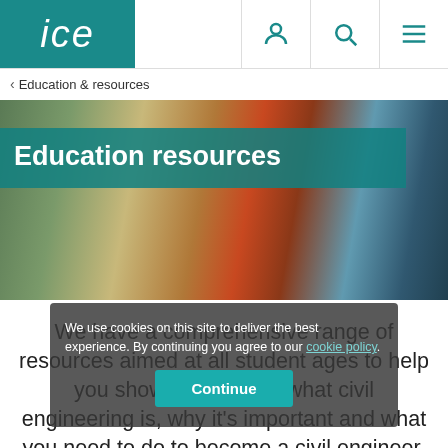ice — navigation header with user, search, and menu icons
< Education & resources
[Figure (photo): Hero banner photo of students working on an engineering project; a young woman with glasses works alongside another student manipulating a red plastic component. Teal overlay banner reads 'Education resources'.]
Education resources
We have a comprehensive range of resources aimed at all student ages to help you show and explain what civil engineering is, why it's important and what you need to do to become a civil engineer.
We use cookies on this site to deliver the best experience. By continuing you agree to our cookie policy.
Continue